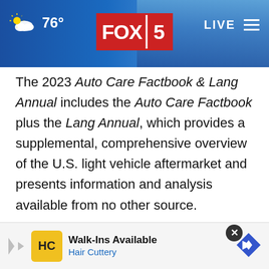76° FOX 5 LIVE
The 2023 Auto Care Factbook & Lang Annual includes the Auto Care Factbook plus the Lang Annual, which provides a supplemental, comprehensive overview of the U.S. light vehicle aftermarket and presents information and analysis available from no other source.
All Auto Care Association contacts at member companies receive a complimentary digital copy of the member benefit. The non-member price for the
[Figure (screenshot): Advertisement banner for Hair Cuttery with 'Walk-Ins Available' text and logo]